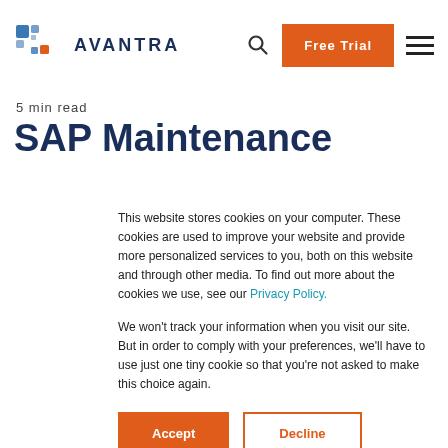AVANTRA | Free Trial
5 min read
SAP Maintenance
This website stores cookies on your computer. These cookies are used to improve your website and provide more personalized services to you, both on this website and through other media. To find out more about the cookies we use, see our Privacy Policy.

We won't track your information when you visit our site. But in order to comply with your preferences, we'll have to use just one tiny cookie so that you're not asked to make this choice again.
Accept | Decline